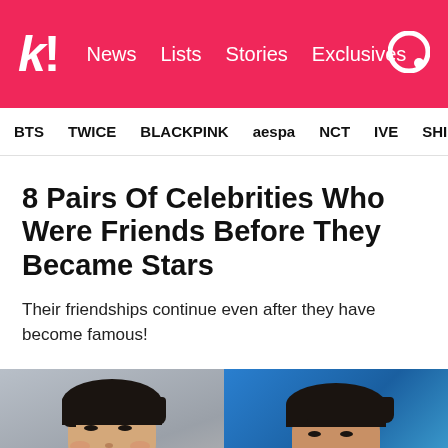k! News  Lists  Stories  Exclusives
BTS  TWICE  BLACKPINK  aespa  NCT  IVE  SHINee
8 Pairs Of Celebrities Who Were Friends Before They Became Stars
Their friendships continue even after they have become famous!
[Figure (photo): Two side-by-side celebrity photos: left shows a smiling young Korean man (Song Joong-ki) in a light shirt giving a thumbs up; right shows another smiling young Korean man (Lee Min-ho) on what appears to be a blue-lit stage.]